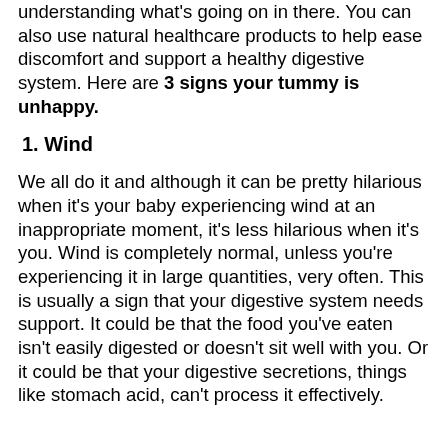understanding what's going on in there. You can also use natural healthcare products to help ease discomfort and support a healthy digestive system. Here are 3 signs your tummy is unhappy.
1. Wind
We all do it and although it can be pretty hilarious when it's your baby experiencing wind at an inappropriate moment, it's less hilarious when it's you. Wind is completely normal, unless you're experiencing it in large quantities, very often. This is usually a sign that your digestive system needs support. It could be that the food you've eaten isn't easily digested or doesn't sit well with you. Or it could be that your digestive secretions, things like stomach acid, can't process it effectively.